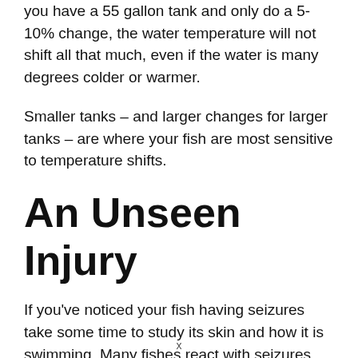you have a 55 gallon tank and only do a 5-10% change, the water temperature will not shift all that much, even if the water is many degrees colder or warmer.
Smaller tanks – and larger changes for larger tanks – are where your fish are most sensitive to temperature shifts.
An Unseen Injury
If you've noticed your fish having seizures take some time to study its skin and how it is swimming. Many fishes react with seizures from the pain of a fresh injury. Wounds from a territorial tank mate, parasites, or
x